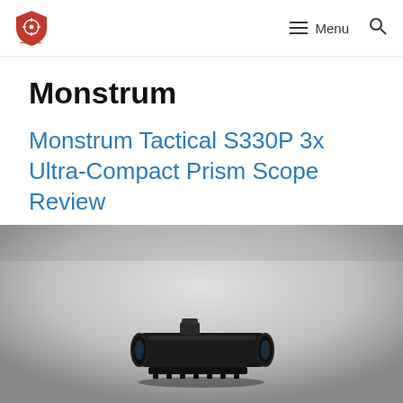Monstrum — Menu (navigation bar with logo and search icon)
Monstrum
Monstrum Tactical S330P 3x Ultra-Compact Prism Scope Review
September 16, 2015 by Jared
[Figure (photo): Photo of the Monstrum Tactical S330P 3x Ultra-Compact Prism Scope on a grey gradient background]